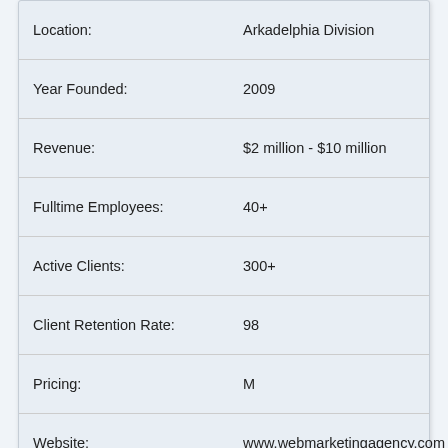| Field | Value |
| --- | --- |
| Location: | Arkadelphia Division |
| Year Founded: | 2009 |
| Revenue: | $2 million - $10 million |
| Fulltime Employees: | 40+ |
| Active Clients: | 300+ |
| Client Retention Rate: | 98 |
| Pricing: | M |
| Website: | www.webmarketingagency.com |
| More Info: | View Profile |
4. Flypaper - Hot Springs
★★★★★ 9 reviews
Visit Website  Call